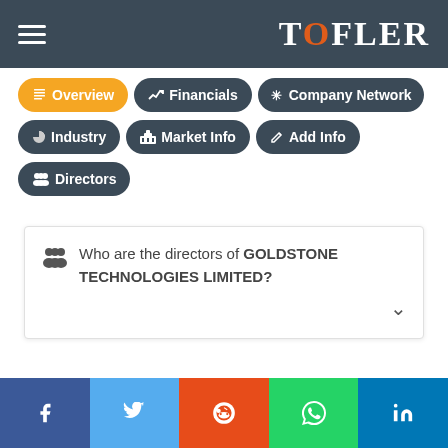Tofler — Navigation header with hamburger menu and TOFLER logo
[Figure (screenshot): Navigation tabs: Overview (active/yellow), Financials, Company Network, Industry, Market Info, Add Info, Directors]
Who are the directors of GOLDSTONE TECHNOLOGIES LIMITED?
Social share bar: Facebook, Twitter, Reddit, WhatsApp, LinkedIn